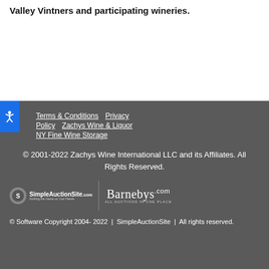Valley Vintners and participating wineries.
Terms & Conditions | Privacy Policy | Zachys Wine & Liquor | NY Fine Wine Storage
© 2001-2022 Zachys Wine International LLC and its Affiliates. All Rights Reserved.
[Figure (logo): SimpleAuctionSite and Barnebys.com logos]
© Software Copyright 2004- 2022  |  SimpleAuctionSite  |  All rights reserved.